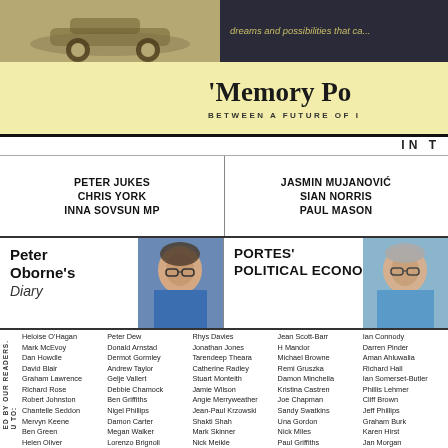[Figure (photo): Vintage racing car photo, sepia/tan toned, left panel]
dreams and possibilities that ca...
'Memory Po
BETWEEN A FUTURE OF I
IN T
PETER JUKES
CHRIS YORK
INNA SOVSUN MP
JASMIN MUJANOVIĆ
SIAN NORRIS
PAUL MASON
Peter Oborne's
Diary
[Figure (photo): Portrait photo of Peter Oborne]
PORTES'
POLITICAL ECONOMY
[Figure (photo): Portrait photo of Portes]
Heloise O'Hagan
Mark McEvoy
Dan Howdle
David Blair
Graham Lawrence
Richard Rose
Robert Johnston
Chantelle Seddon
Mervyn Keene
Ben Green
Helen Oliver
John Byrnes
Peter Dew
Donald Arnstad
Dermot Gormley
Andrew Taylor
Gelje Vallert
Debbie Chamock
Ben Griffiths
Nigel Phillips
Damon Carter
Megan Walker
Lorenzo Brignoli
Duncan Lawrence
Rhys Davies
Jonathan Jones
Tarendeep Theara
Catherine Radley
Stuart Monteith
Jamie Wilson
Angie Merryweather
Jean-Paul Krzowski
Shakti Shah
Mark Skinner
Nick Meikle
Matilda Wagner
Jean Scott-Barr
H Mandor
Michael Browne
Remi Gruszka
Damon Minchella
Kristina Castren
Joe Chapman
Sandy Swatkins
Una Gordon
Nick Miles
Paul Griffiths
Aysha Rafaele
Ian Connody
Darren Pinder
Aman Ahluwalia
Richard Hall
Ian Somerset-Butler
Phillis Lehmer
Cliff Brown
Jeff Phillips
Graham Burk
Karen Hirst
Jan Morgan
Graham Higgs